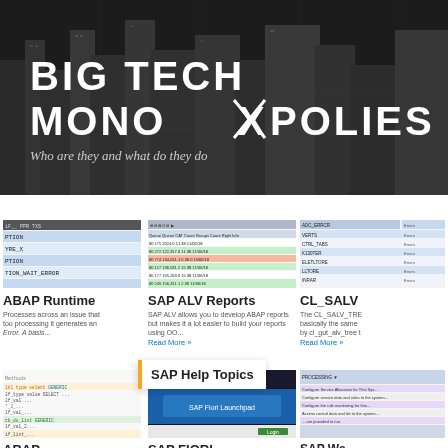[Figure (photo): Hero banner with city skyline background. Bold white text reads BIG TECH MONOPOLIES with an X graphic. Subtitle: Who are they and what do they do]
[Figure (screenshot): Screenshot of ABAP runtime error list with blue highlighted rows showing error types like PTION, YRE_X, PTION, TION_WAIT_ERROR]
ABAP Runtime
Processes across an issue that too processing it generates an Error. A basis...
[Figure (screenshot): SAP ALV Reports table screenshot showing columns: Queue, Queue, CAT Count, Groups Count, Right Info with colored rows]
SAP ALV Reports
SAP ALV allows you to develop ABAP reports but makes it a lot easier to build your reports using OO...
Read More »
[Figure (screenshot): CL_SALV screenshot showing table with blue highlighted rows listing various entries]
CL_SALV
The CL_SALV_TRE basically the same by cl_gut_alv_tree t
Read More »
[Figure (screenshot): ABAP code screenshot with orange highlighted text showing SAP code]
ABAP
[Figure (screenshot): SAP FIORI dark banner screenshot]
SAP FIORI
[Figure (screenshot): SAP Web / HPC screenshot with configuration options]
SAP We HPC AL
SAP Help Topics